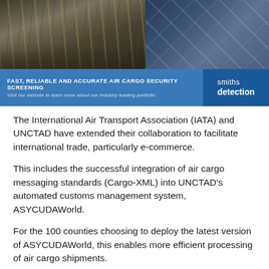[Figure (photo): Two-panel photo banner: left panel shows industrial cargo conveyor/roller system from above in dark tones; right panel shows cargo netting securing freight packages in blue tones.]
[Figure (infographic): Smiths Detection advertisement banner: blue background with text 'FAST, RELIABLE AND ACCURATE AIR CARGO SECURITY SCREENING' and 'Visit our website to learn more about our industry leading portfolio.' Smiths detection logo on right.]
The International Air Transport Association (IATA) and UNCTAD have extended their collaboration to facilitate international trade, particularly e-commerce.
This includes the successful integration of air cargo messaging standards (Cargo-XML) into UNCTAD’s automated customs management system, ASYCUDAWorld.
For the 100 counties choosing to deploy the latest version of ASYCUDAWorld, this enables more efficient processing of air cargo shipments.